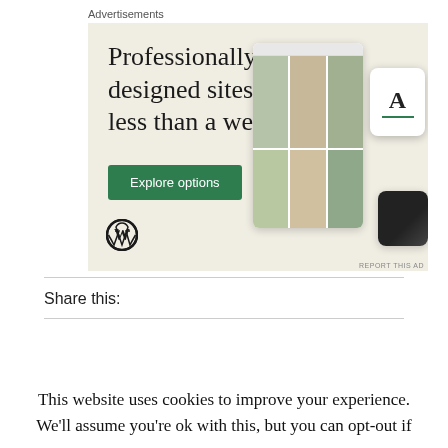Advertisements
[Figure (screenshot): WordPress advertisement showing 'Professionally designed sites in less than a week' with an Explore options button, WordPress logo, and mockup screens of website designs on a beige background.]
Share this:
This website uses cookies to improve your experience. We'll assume you're ok with this, but you can opt-out if